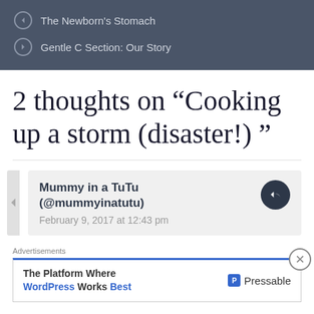The Newborn's Stomach
Gentle C Section: Our Story
2 thoughts on “Cooking up a storm (disaster!) ”
Mummy in a TuTu (@mummyinatutu)
February 9, 2017 at 12:43 pm
Advertisements
The Platform Where WordPress Works Best